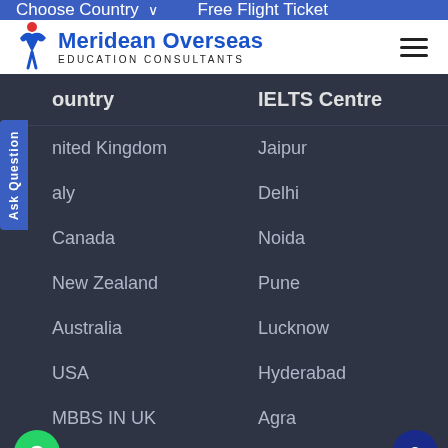Choose Country    Free Flight Ticket
[Figure (logo): Meridean Overseas Education Consultants logo with blue figure icon and text]
Country    IELTS Centre
United Kingdom    Jaipur
Italy    Delhi
Canada    Noida
New Zealand    Pune
Australia    Lucknow
USA    Hyderabad
MBBS IN UK    Agra
LLM IN UK